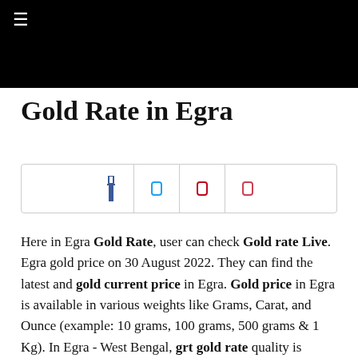☰
Gold Rate in Egra
[Figure (other): Social share buttons bar with 4 icons: Facebook (dark blue), Twitter (light blue), Pinterest (red), and another share icon (light red/pink), separated by vertical dividers]
Here in Egra Gold Rate, user can check Gold rate Live. Egra gold price on 30 August 2022. They can find the latest and gold current price in Egra. Gold price in Egra is available in various weights like Grams, Carat, and Ounce (example: 10 grams, 100 grams, 500 grams & 1 Kg). In Egra - West Bengal, grt gold rate quality is mainly comes in 22 Karat & 24 Karat with the price difference based on quality of 24 carat gold